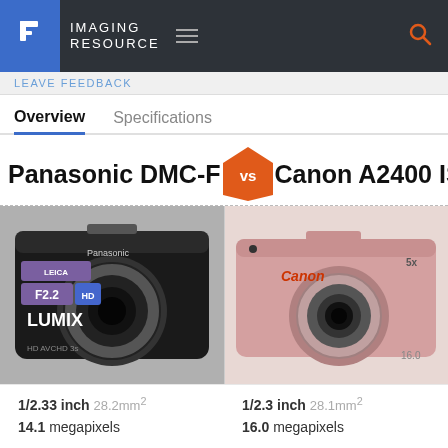IMAGING RESOURCE
LEAVE FEEDBACK
Overview | Specifications
Panasonic DMC-F vs Canon A2400 IS
[Figure (photo): Panasonic Lumix DMC-F camera (black) on the left and Canon A2400 IS camera (pink) on the right, side by side comparison]
1/2.33 inch 28.2mm² | 1/2.3 inch 28.1mm²
14.1 megapixels | 16.0 megapixels